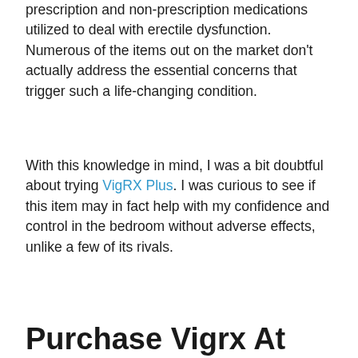prescription and non-prescription medications utilized to deal with erectile dysfunction. Numerous of the items out on the market don't actually address the essential concerns that trigger such a life-changing condition.
With this knowledge in mind, I was a bit doubtful about trying VigRX Plus. I was curious to see if this item may in fact help with my confidence and control in the bedroom without adverse effects, unlike a few of its rivals.
Purchase Vigrx At